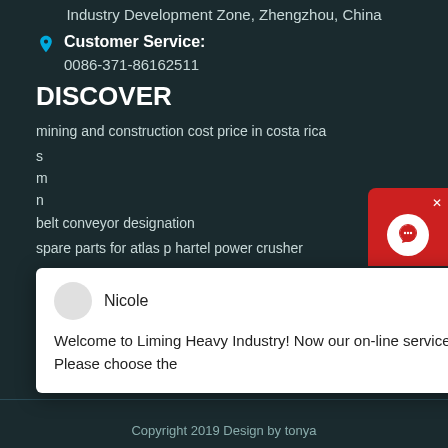Industry Development Zone, Zhengzhou, China
Customer Service:
0086-371-86162511
DISCOVER
mining and construction cost price in costa rica
belt conveyor designation
spare parts for atlas p hartel power crusher
[Figure (screenshot): Chat popup from Nicole at Liming Heavy Industry with message: Welcome to Liming Heavy Industry! Now our on-line service is chatting with you! Please choose the]
[Figure (other): Red customer service widget icon in top right corner with X close button]
[Figure (other): Blue circular badge with number 1]
Copyright 2019 Design by tonya